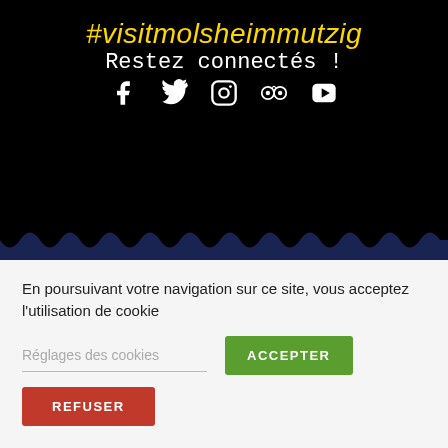#visitmolsheimmutzig
Restez connectés !
[Figure (illustration): Social media icons: Facebook, Twitter, Instagram, TripAdvisor, YouTube]
[Figure (illustration): Dark blue wave transition section with white card]
En poursuivant votre navigation sur ce site, vous acceptez l'utilisation de cookie
Réglages des cookies
ACCEPTER
REFUSER